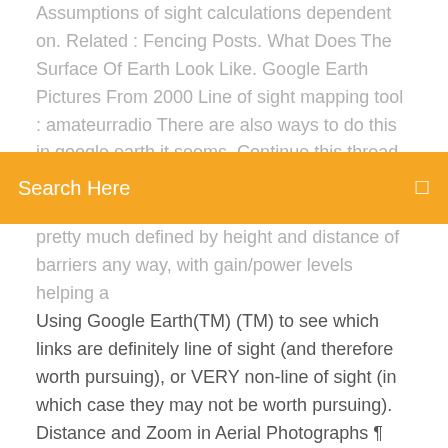Assumptions of sight calculations dependent on. Related : Fencing Posts. What Does The Surface Of Earth Look Like. Google Earth Pictures From 2000 Line of sight mapping tool : amateurradio There are also ways to do this in google earth it seems. Continue this thread level 2. VE3MAL . 1 point · 6 years ago. Note that splat! is dependent on the resolution of the
Search Here
pretty much defined by height and distance of barriers any way, with gain/power levels helping a
Using Google Earth(TM) (TM) to see which links are definitely line of sight (and therefore worth pursuing), or VERY non-line of sight (in which case they may not be worth pursuing). Distance and Zoom in Aerial Photographs ¶ Zoom into areas of the photograph where obstructions may be present, as shown here (Google Earth(TM) Aerial Photograph (Zoomed)): Google Earth(TM) Aerial Photograph Night Earth The Night Earth map